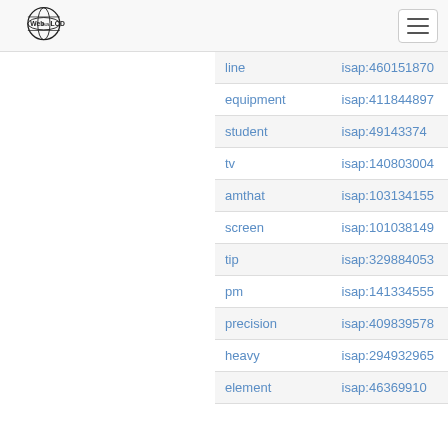[Figure (logo): Web isa LOD globe logo]
| line | isap:460151870 |
| equipment | isap:411844897 |
| student | isap:49143374 |
| tv | isap:140803004 |
| amthat | isap:103134155 |
| screen | isap:101038149 |
| tip | isap:329884053 |
| pm | isap:141334555 |
| precision | isap:409839578 |
| heavy | isap:294932965 |
| element | isap:46369910 |